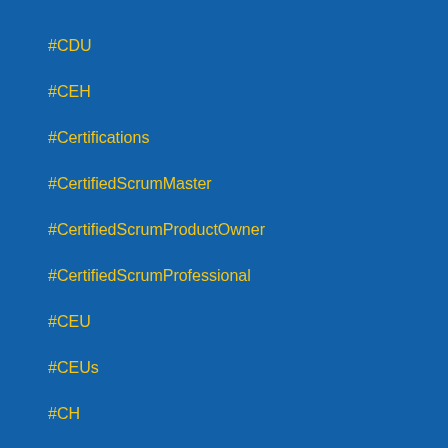#CDU
#CEH
#Certifications
#CertifiedScrumMaster
#CertifiedScrumProductOwner
#CertifiedScrumProfessional
#CEU
#CEUs
#CH